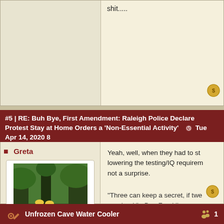shit.....
#5 | RE: Buh Bye, First Amendment: Raleigh Police Declare Protest Stay at Home Orders a ‘Non-Essential Activity’  Tue Apr 14, 2020 8
Greta
[Figure (illustration): Avatar image showing two anime-style characters standing in a forest setting]
Thawed Member
| Posts: | 480 |
| Registered since: | 11.01.2019 |
Yeah, well, when they had to st lowering the testing/IQ requirem not a surprise.
"Three can keep a secret, if twe are dead." - Ben Franklin
EdJames said Thank You!
Unfrozen Cave Water Cooler  1